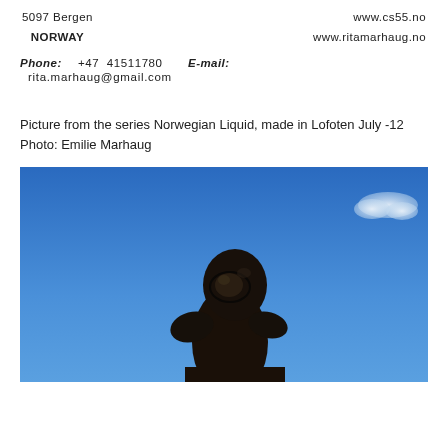5097 Bergen
NORWAY
www.cs55.no
www.ritamarhaug.no
Phone:  +47  41511780   E-mail:
rita.marhaug@gmail.com
Picture from the series Norwegian Liquid, made in Lofoten July -12
Photo: Emilie Marhaug
[Figure (photo): A person wearing a black wetsuit and mask photographed from below against a bright blue sky with a small white cloud in the upper right corner. The figure is silhouetted and appears to be a diver or swimmer.]